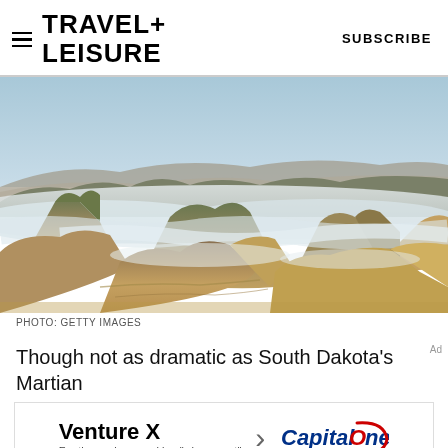TRAVEL+ LEISURE    SUBSCRIBE
[Figure (photo): Aerial landscape photo of dramatic badlands terrain with fog/mist filling valleys between layered rock formations and buttes, under a clear sky. Golden and brown rocky outcroppings in foreground, misty river valley in background. Photo credit: Getty Images.]
PHOTO: GETTY IMAGES
Though not as dramatic as South Dakota's Martian
[Figure (other): Advertisement banner: Venture X > Capital One. Tagline: For those always asking where next]